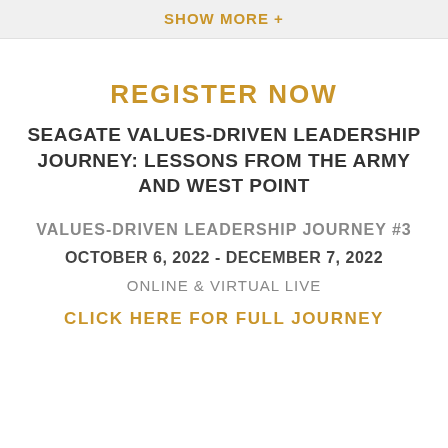SHOW MORE +
REGISTER NOW
SEAGATE VALUES-DRIVEN LEADERSHIP JOURNEY: LESSONS FROM THE ARMY AND WEST POINT
VALUES-DRIVEN LEADERSHIP JOURNEY #3
OCTOBER 6, 2022 - DECEMBER 7, 2022
ONLINE & VIRTUAL LIVE
CLICK HERE FOR FULL JOURNEY